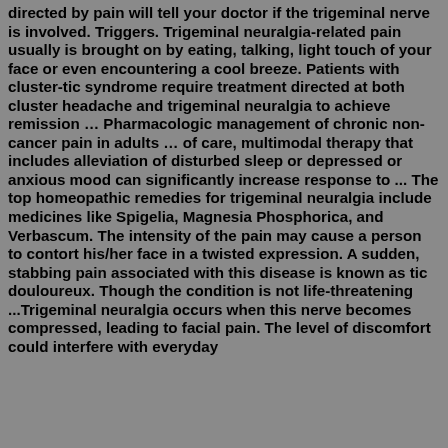directed by pain will tell your doctor if the trigeminal nerve is involved. Triggers. Trigeminal neuralgia-related pain usually is brought on by eating, talking, light touch of your face or even encountering a cool breeze. Patients with cluster-tic syndrome require treatment directed at both cluster headache and trigeminal neuralgia to achieve remission … Pharmacologic management of chronic non-cancer pain in adults … of care, multimodal therapy that includes alleviation of disturbed sleep or depressed or anxious mood can significantly increase response to ... The top homeopathic remedies for trigeminal neuralgia include medicines like Spigelia, Magnesia Phosphorica, and Verbascum. The intensity of the pain may cause a person to contort his/her face in a twisted expression. A sudden, stabbing pain associated with this disease is known as tic douloureux. Though the condition is not life-threatening ...Trigeminal neuralgia occurs when this nerve becomes compressed, leading to facial pain. The level of discomfort could interfere with everyday